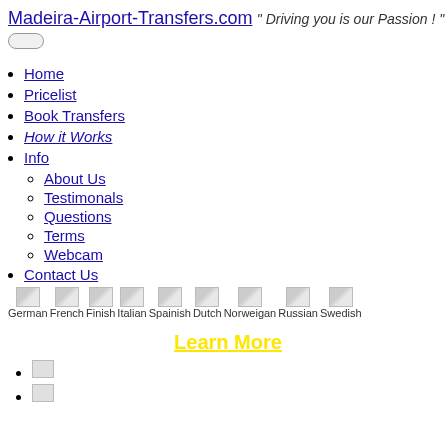Madeira-Airport-Transfers.com
" Driving you is our Passion ! "
Home
Pricelist
Book Transfers
How it Works
Info
About Us
Testimonals
Questions
Terms
Webcam
Contact Us
[Figure (other): Language flags row: German, French, Finish, Italian, Spainish, Dutch, Norweigan, Russian, Swedish]
Learn More
[Figure (other): Two broken image icons as list items]